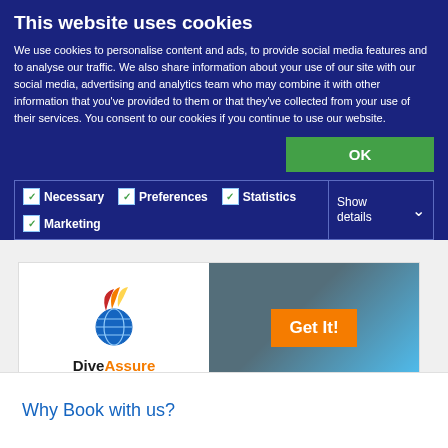This website uses cookies
We use cookies to personalise content and ads, to provide social media features and to analyse our traffic. We also share information about your use of our site with our social media, advertising and analytics team who may combine it with other information that you’ve provided to them or that they’ve collected from your use of their services. You consent to our cookies if you continue to use our website.
OK
Necessary  Preferences  Statistics  Marketing  Show details
[Figure (logo): DiveAssure logo with globe and swoosh graphic, orange Get It! button on dark background]
Why Book with us?